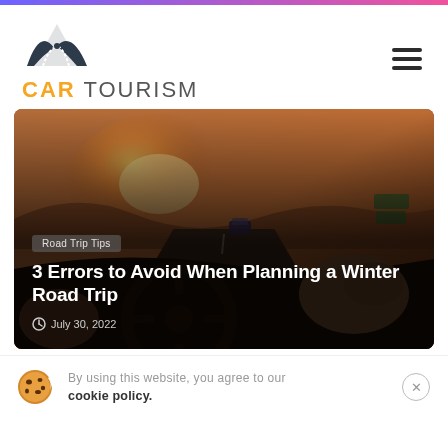[Figure (logo): Car Tourism logo with road icon and text 'CAR TOURISM']
[Figure (photo): Interior of a car showing steering wheel and driver's hands, highway road ahead with another car, warm sunset lighting]
Road Trip Tips
3 Errors to Avoid When Planning a Winter Road Trip
July 30, 2022
By using this website, you agree to our cookie policy.